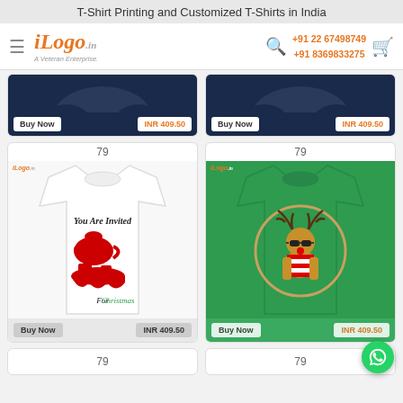T-Shirt Printing and Customized T-Shirts in India
[Figure (screenshot): iLogo.in navigation bar with hamburger menu, logo, phone numbers +91 22 67498749 and +91 8369833275, search icon and cart icon]
[Figure (photo): Partial product cards showing navy blue t-shirts with Buy Now buttons and INR 409.50 price tags]
[Figure (photo): White t-shirt with 'You Are Invited For Christmas' design, product number 79, Buy Now button, INR 409.50]
[Figure (photo): Green t-shirt with reindeer wearing sunglasses design, product number 79, Buy Now button, INR 409.50]
[Figure (photo): Partial product cards at bottom showing product number 79 each]